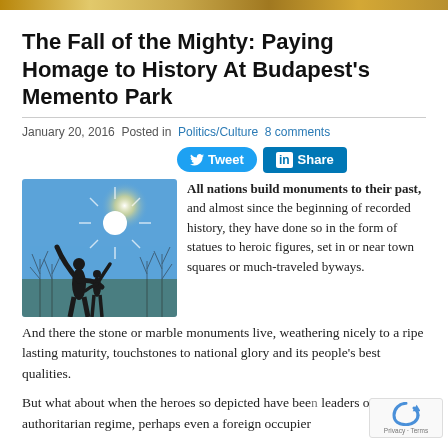[Figure (photo): Top decorative bar with golden/brown gradient pattern]
The Fall of the Mighty: Paying Homage to History At Budapest’s Memento Park
January 20, 2016 Posted in Politics/Culture 8 comments
[Figure (infographic): Tweet and LinkedIn Share social media buttons]
[Figure (photo): Silhouette of two figures (adult and child) against bright sun and bare trees at Memento Park Budapest]
All nations build monuments to their past, and almost since the beginning of recorded history, they have done so in the form of statues to heroic figures, set in or near town squares or much-traveled byways. And there the stone or marble monuments live, weathering nicely to a ripe lasting maturity, touchstones to national glory and its people’s best qualities.
But what about when the heroes so depicted have been leaders of an authoritarian regime, perhaps even a foreign occupier